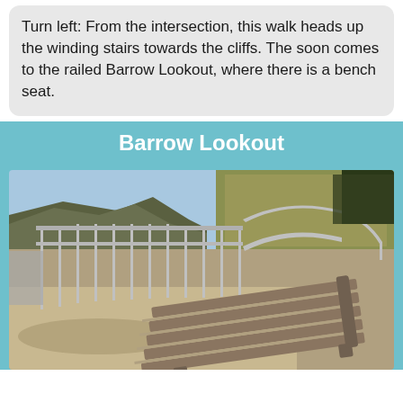Turn left: From the intersection, this walk heads up the winding stairs towards the cliffs. The soon comes to the railed Barrow Lookout, where there is a bench seat.
Barrow Lookout
[Figure (photo): Outdoor lookout point with a wooden bench seat, metal railing fence, dry grasses, rocky cliff faces in background under blue sky.]